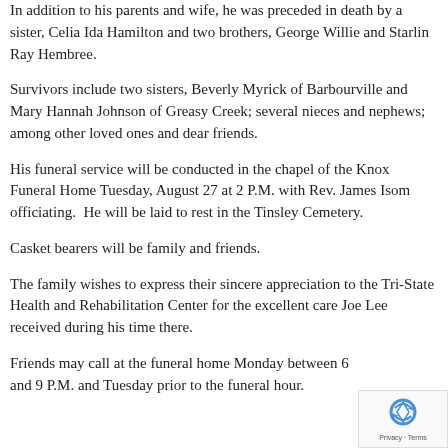In addition to his parents and wife, he was preceded in death by a sister, Celia Ida Hamilton and two brothers, George Willie and Starlin Ray Hembree.
Survivors include two sisters, Beverly Myrick of Barbourville and Mary Hannah Johnson of Greasy Creek; several nieces and nephews; among other loved ones and dear friends.
His funeral service will be conducted in the chapel of the Knox Funeral Home Tuesday, August 27 at 2 P.M. with Rev. James Isom officiating.  He will be laid to rest in the Tinsley Cemetery.
Casket bearers will be family and friends.
The family wishes to express their sincere appreciation to the Tri-State Health and Rehabilitation Center for the excellent care Joe Lee received during his time there.
Friends may call at the funeral home Monday between 6 and 9 P.M. and Tuesday prior to the funeral hour.